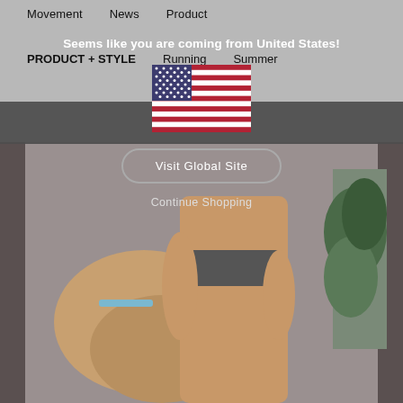Movement   News   Product
PRODUCT + STYLE   Running   Summer
Seems like you are coming from United States!
[Figure (illustration): US flag illustration]
Visit Global Site
Continue Shopping
[Figure (photo): Person in athletic wear with a dog, plant in background]